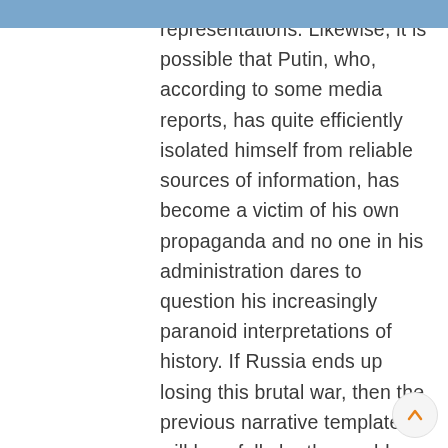representations. Likewise, it is possible that Putin, who, according to some media reports, has quite efficiently isolated himself from reliable sources of information, has become a victim of his own propaganda and no one in his administration dares to question his increasingly paranoid interpretations of history. If Russia ends up losing this brutal war, then the previous narrative template will hopefully be thoroughly questioned through open public discussion in Russia. However, this is not likely to happen as long as Putin remains in power.